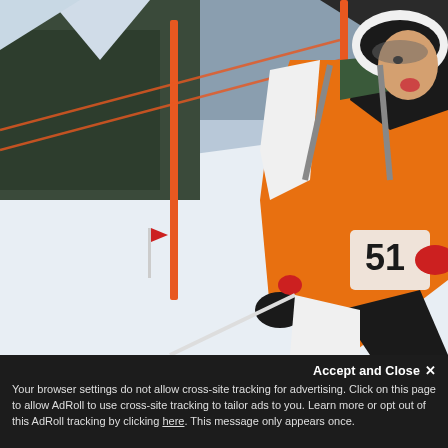[Figure (photo): A skier/ski mountaineer wearing bib number 51 in an orange and black DYNAFIT racing suit, running uphill in a ski mountaineering race on a snowy slope. Orange poles mark the course. Snowy mountains and dark evergreen trees are visible in the background. The athlete holds ski poles and appears to be exerting effort, mouth open.]
Accept and Close ✕
Your browser settings do not allow cross-site tracking for advertising. Click on this page to allow AdRoll to use cross-site tracking to tailor ads to you. Learn more or opt out of this AdRoll tracking by clicking here. This message only appears once.